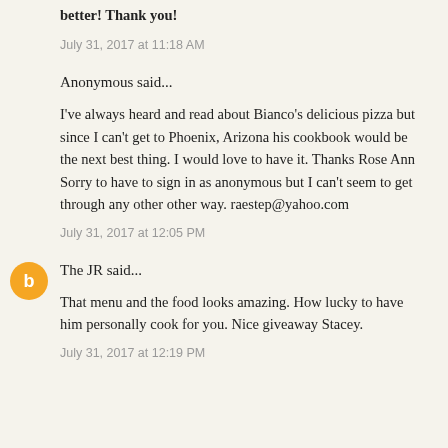better! Thank you!
July 31, 2017 at 11:18 AM
Anonymous said...
I've always heard and read about Bianco's delicious pizza but since I can't get to Phoenix, Arizona his cookbook would be the next best thing. I would love to have it. Thanks Rose Ann Sorry to have to sign in as anonymous but I can't seem to get through any other other way. raestep@yahoo.com
July 31, 2017 at 12:05 PM
The JR said...
That menu and the food looks amazing. How lucky to have him personally cook for you. Nice giveaway Stacey.
July 31, 2017 at 12:19 PM